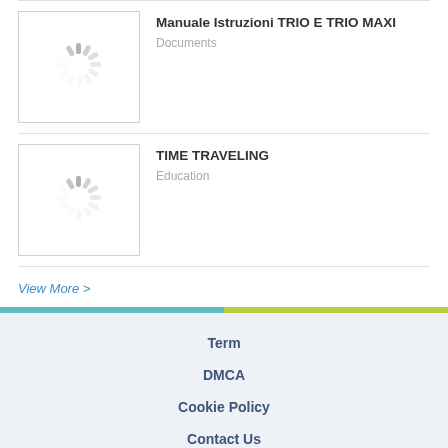[Figure (illustration): Loading spinner icon (gray dashes in circle) inside a thumbnail box for Manuale Istruzioni TRIO E TRIO MAXI]
Manuale Istruzioni TRIO E TRIO MAXI
Documents
[Figure (illustration): Loading spinner icon (gray dashes in circle) inside a thumbnail box for TIME TRAVELING]
TIME TRAVELING
Education
View More >
Term
DMCA
Cookie Policy
Contact Us
Copyright © 2018 FDOCUMENTS